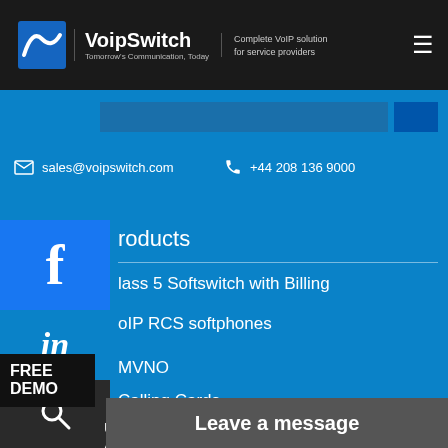VoipSwitch — Complete VoIP solution for service providers. Tomorrow's Communication, Today
sales@voipswitch.com   +44 208 136 9000
[Figure (logo): Facebook social icon button (blue square with white 'f')]
[Figure (logo): LinkedIn social icon (blue area with 'in' text)]
[Figure (logo): Search icon (dark square with magnifying glass)]
roducts
lass 5 Softswitch with Billing
oIP RCS softphones
MVNO
Calling Cards
Unified Com...
Additional...
Leave a message